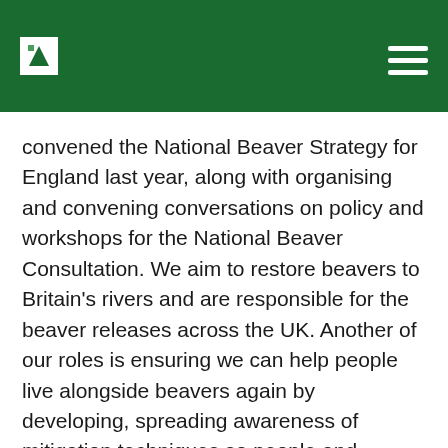[Logo] [Navigation menu]
convened the National Beaver Strategy for England last year, along with organising and convening conversations on policy and workshops for the National Beaver Consultation. We aim to restore beavers to Britain's rivers and are responsible for the beaver releases across the UK. Another of our roles is ensuring we can help people live alongside beavers again by developing, spreading awareness of mitigation techniques so people and beavers can coexist, alongside educating the public about the roles and importance of beavers in our ecosystems.
What sort of projects has the Trust been involved in or funded?